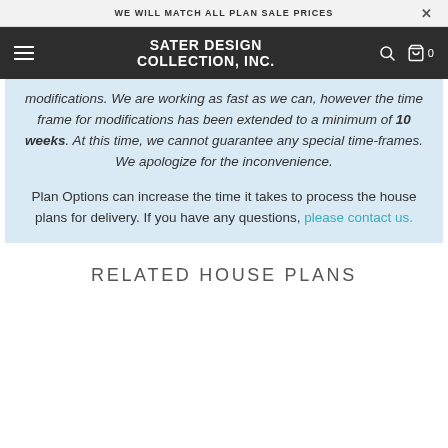WE WILL MATCH ALL PLAN SALE PRICES
SATER DESIGN COLLECTION, INC.
modifications. We are working as fast as we can, however the time frame for modifications has been extended to a minimum of 10 weeks. At this time, we cannot guarantee any special time-frames. We apologize for the inconvenience.
Plan Options can increase the time it takes to process the house plans for delivery. If you have any questions, please contact us.
RELATED HOUSE PLANS